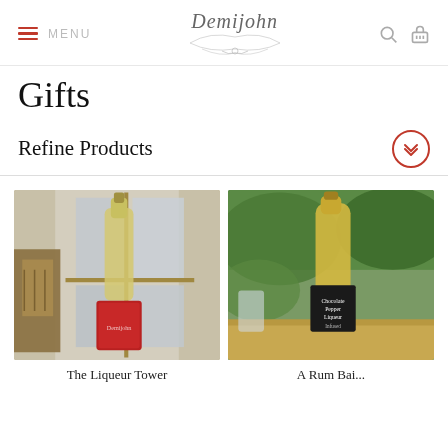MENU | Demijohn | [search] [cart]
Gifts
Refine Products
[Figure (photo): Photo of a liqueur bottle on a windowsill with a red gift wrap base, with a lantern visible on the left]
[Figure (photo): Photo of a rum bottle labeled 'Chocolate Pepper Liqueur' outdoors on a wooden table with greenery in background]
The Liqueur Tower
A Rum Bai...